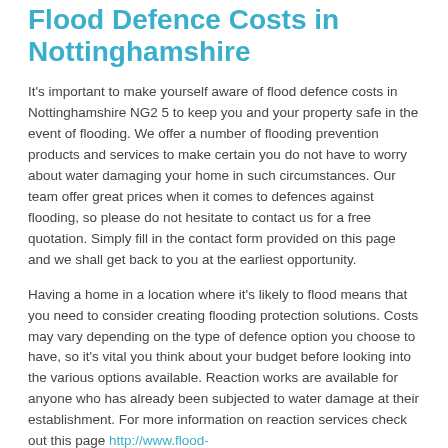Flood Defence Costs in Nottinghamshire
It's important to make yourself aware of flood defence costs in Nottinghamshire NG2 5 to keep you and your property safe in the event of flooding. We offer a number of flooding prevention products and services to make certain you do not have to worry about water damaging your home in such circumstances. Our team offer great prices when it comes to defences against flooding, so please do not hesitate to contact us for a free quotation. Simply fill in the contact form provided on this page and we shall get back to you at the earliest opportunity.
Having a home in a location where it's likely to flood means that you need to consider creating flooding protection solutions. Costs may vary depending on the type of defence option you choose to have, so it's vital you think about your budget before looking into the various options available. Reaction works are available for anyone who has already been subjected to water damage at their establishment. For more information on reaction services check out this page http://www.flood-